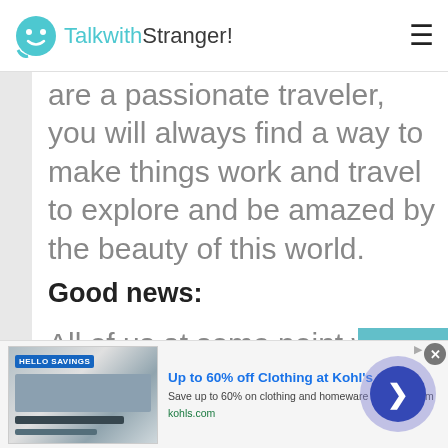TalkwithStranger!
are a passionate traveler, you will always find a way to make things work and travel to explore and be amazed by the beauty of this world.
Good news:
All of us at some point want to
[Figure (screenshot): Advertisement banner: Up to 60% off Clothing at Kohl's. Save up to 60% on clothing and homeware at Kohl's.com. kohls.com]
[Figure (other): Scroll-to-top button with upward chevron arrow on teal background]
[Figure (other): Chat navigation button: circular dark blue button with right-pointing arrow, surrounded by semi-transparent purple circle]